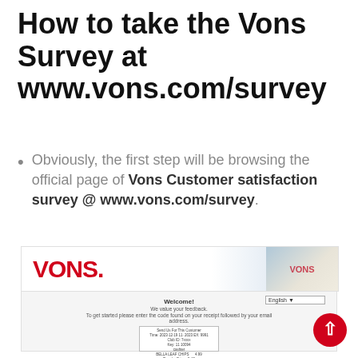How to take the Vons Survey at www.vons.com/survey
Obviously, the first step will be browsing the official page of Vons Customer satisfaction survey @ www.vons.com/survey.
[Figure (screenshot): Screenshot of the Vons survey website at www.vons.com/survey showing the Vons logo banner and survey entry form with a language dropdown and receipt entry box.]